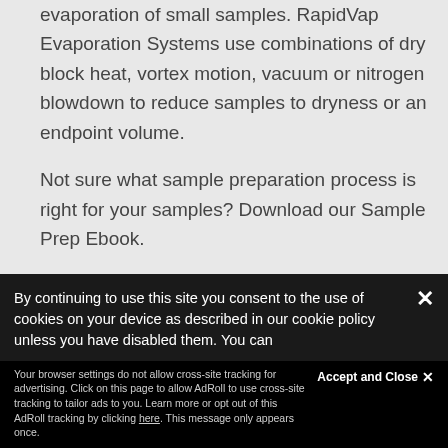evaporation of small samples. RapidVap Evaporation Systems use combinations of dry block heat, vortex motion, vacuum or nitrogen blowdown to reduce samples to dryness or an endpoint volume.
Not sure what sample preparation process is right for your samples? Download our Sample Prep Ebook.
GET SAMPLE PREP EBOOK
By continuing to use this site you consent to the use of cookies on your device as described in our cookie policy unless you have disabled them. You can
Accept and Close ✕
Your browser settings do not allow cross-site tracking for advertising. Click on this page to allow AdRoll to use cross-site tracking to tailor ads to you. Learn more or opt out of this AdRoll tracking by clicking here. This message only appears once.